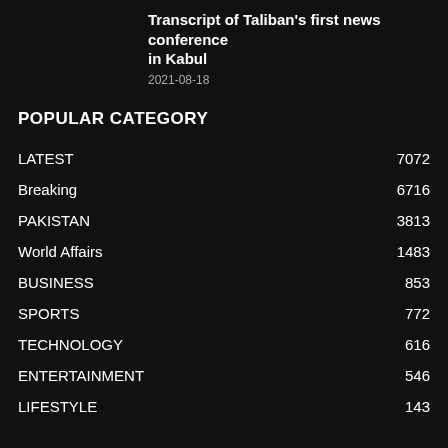Transcript of Taliban's first news conference in Kabul
2021-08-18
POPULAR CATEGORY
LATEST 7072
Breaking 6716
PAKISTAN 3813
World Affairs 1483
BUSINESS 853
SPORTS 772
TECHNOLOGY 616
ENTERTAINMENT 546
LIFESTYLE 143